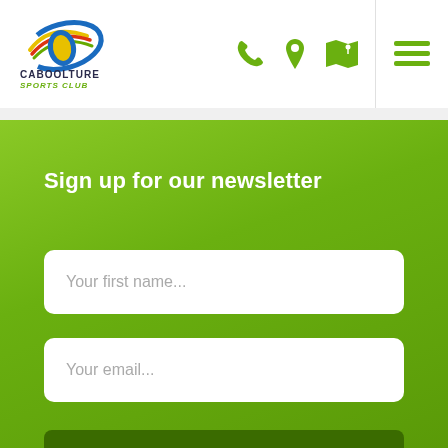[Figure (logo): Caboolture Sports Club logo with swoosh graphic and text]
Sign up for our newsletter
Your first name...
Your email...
SIGN UP